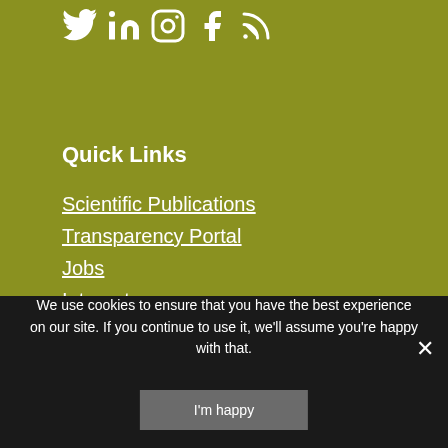[Figure (logo): Social media icons: Twitter, LinkedIn, Instagram, Facebook, RSS feed — all white on olive background]
Quick Links
Scientific Publications
Transparency Portal
Jobs
Intranet
Legal
We use cookies to ensure that you have the best experience on our site. If you continue to use it, we'll assume you're happy with that.
I'm happy